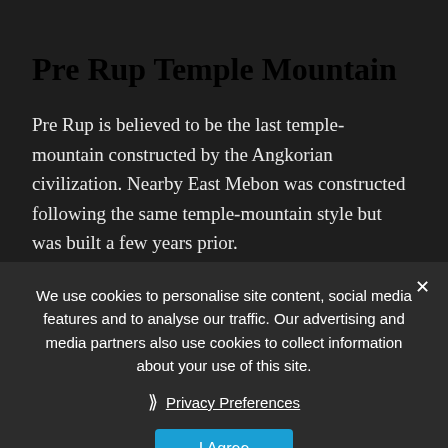Pre Rup Temple Mountain
Pre Rup is believed to be the last temple-mountain constructed by the Angkorian civilization. Nearby East Mebon was constructed following the same temple-mountain style but was built a few years prior.
The construction works on Pre Rup temple com[pleted under the rule of] Rajen[dravarman, the] city [of Angkor was] select[ed back to Angkor replacing the] temporary move to Koh Ker between 921 and 944.
We use cookies to personalise site content, social media features and to analyse our traffic. Our advertising and media partners also use cookies to collect information about your use of this site.
Privacy Preferences
I Agree